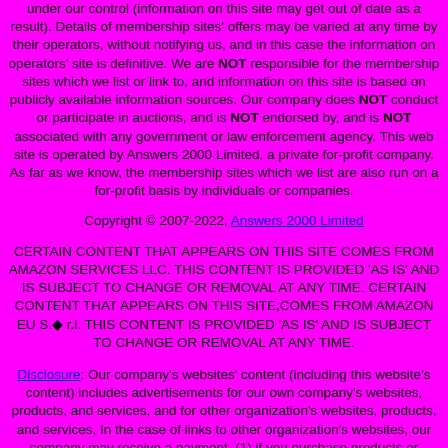under our control (information on this site may get out of date as a result). Details of membership sites' offers may be varied at any time by their operators, without notifying us, and in this case the information on operators' site is definitive. We are NOT responsible for the membership sites which we list or link to, and information on this site is based on publicly available information sources. Our company does NOT conduct or participate in auctions, and is NOT endorsed by, and is NOT associated with any government or law enforcement agency. This web site is operated by Answers 2000 Limited, a private for-profit company. As far as we know, the membership sites which we list are also run on a for-profit basis by individuals or companies.
Copyright © 2007-2022, Answers 2000 Limited
CERTAIN CONTENT THAT APPEARS ON THIS SITE COMES FROM AMAZON SERVICES LLC. THIS CONTENT IS PROVIDED 'AS IS' AND IS SUBJECT TO CHANGE OR REMOVAL AT ANY TIME. CERTAIN CONTENT THAT APPEARS ON THIS SITE,COMES FROM AMAZON EU S.à r.l. THIS CONTENT IS PROVIDED 'AS IS' AND IS SUBJECT TO CHANGE OR REMOVAL AT ANY TIME.
Disclosure: Our company's websites' content (including this website's content) includes advertisements for our own company's websites, products, and services, and for other organization's websites, products, and services. In the case of links to other organization's websites, our company may receive a payment, (1) if you purchase products or services, or (2) if you sign-up for third party offers, after following links from this website. Unless specifically otherwise stated, information about other organization's products and services, is based on information provided by that organization, the product/service vendor, and/or publicly available information - and should not be taken to mean that we have used the product/service in question.